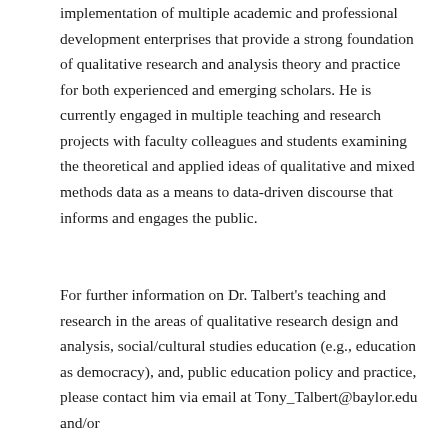implementation of multiple academic and professional development enterprises that provide a strong foundation of qualitative research and analysis theory and practice for both experienced and emerging scholars. He is currently engaged in multiple teaching and research projects with faculty colleagues and students examining the theoretical and applied ideas of qualitative and mixed methods data as a means to data-driven discourse that informs and engages the public.
For further information on Dr. Talbert's teaching and research in the areas of qualitative research design and analysis, social/cultural studies education (e.g., education as democracy), and, public education policy and practice, please contact him via email at Tony_Talbert@baylor.edu and/or